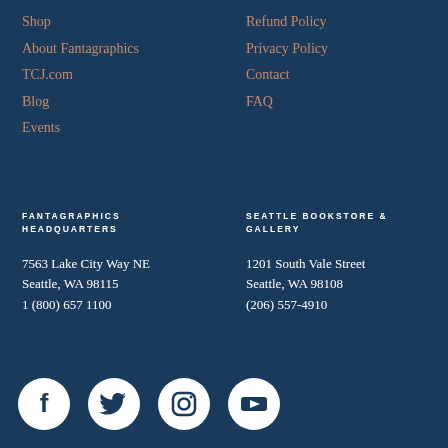Shop
About Fantagraphics
TCJ.com
Blog
Events
Refund Policy
Privacy Policy
Contact
FAQ
FANTAGRAPHICS HEADQUARTERS
7563 Lake City Way NE
Seattle, WA 98115
1 (800) 657 1100
SEATTLE BOOKSTORE & GALLERY
1201 South Vale Street
Seattle, WA 98108
(206) 557-4910
[Figure (infographic): Four social media icons in white circles on dark blue background: Facebook, Twitter, Instagram, YouTube]